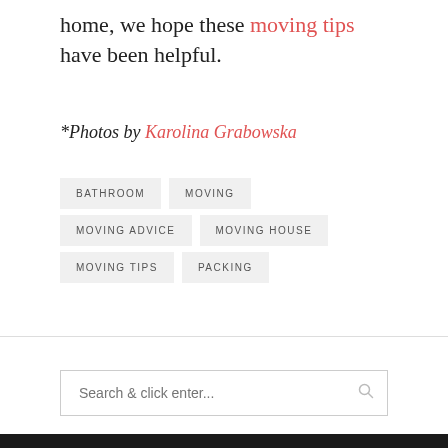home, we hope these moving tips have been helpful.
*Photos by Karolina Grabowska
BATHROOM
MOVING
MOVING ADVICE
MOVING HOUSE
MOVING TIPS
PACKING
Search & click enter...